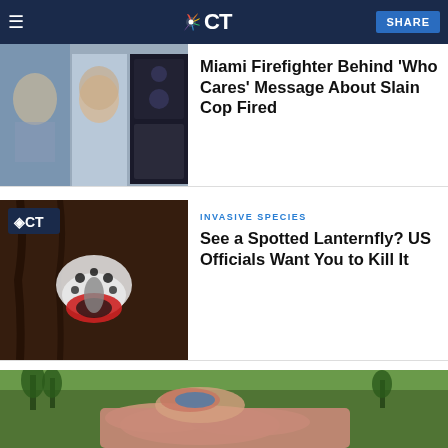NBC CT — Hamburger menu | CT Logo | SHARE
[Figure (photo): News article thumbnail showing a man's headshot and dark card panels]
Miami Firefighter Behind 'Who Cares' Message About Slain Cop Fired
INVASIVE SPECIES
[Figure (photo): Close-up photo of a spotted lanternfly on tree bark with NBC CT badge overlay]
See a Spotted Lanternfly? US Officials Want You to Kill It
[Figure (photo): Aerial view of a large pink/terracotta Frank Lloyd Wright-style building surrounded by green landscape]